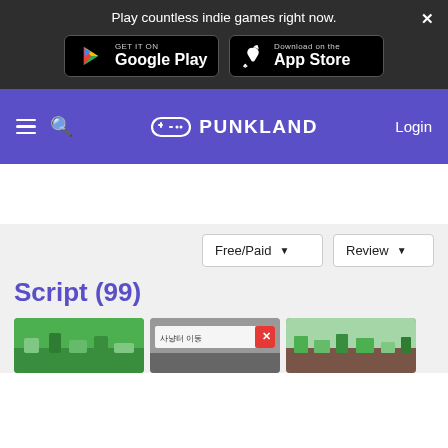Play countless indie games right now.
[Figure (logo): Get it on Google Play button]
[Figure (logo): Download on the App Store button]
[Figure (logo): Punkland navigation bar with hamburger menu, search icon, logo and Login link]
Script (99)
[Figure (screenshot): Three game thumbnails partially visible at bottom of page]